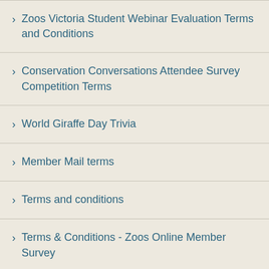Zoos Victoria Student Webinar Evaluation Terms and Conditions
Conservation Conversations Attendee Survey Competition Terms
World Giraffe Day Trivia
Member Mail terms
Terms and conditions
Terms & Conditions - Zoos Online Member Survey
Zoo at Home member competition